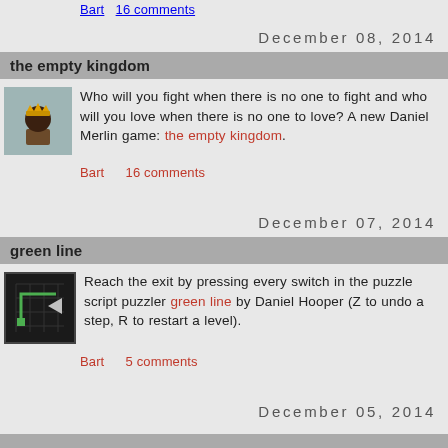Bart   16 comments
December 08, 2014
the empty kingdom
[Figure (illustration): Avatar icon of a character with a crown on a light blue-gray background]
Who will you fight when there is no one to fight and who will you love when there is no one to love? A new Daniel Merlin game: the empty kingdom.
Bart   16 comments
December 07, 2014
green line
[Figure (illustration): Game screenshot thumbnail showing a dark background with green line puzzle elements and an arrow icon]
Reach the exit by pressing every switch in the puzzle script puzzler green line by Daniel Hooper (Z to undo a step, R to restart a level).
Bart   5 comments
December 05, 2014